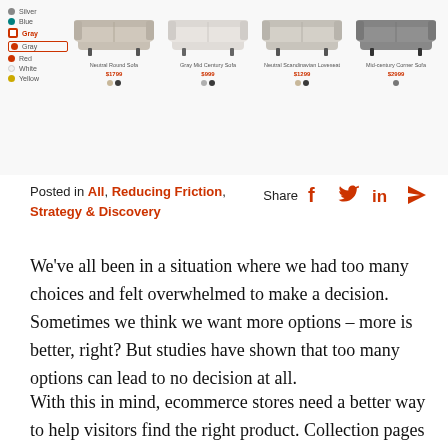[Figure (screenshot): E-commerce furniture product listing page showing color filter sidebar on the left (with various color options including gray, teal, red/selected, red, white, yellow) and four sofa product cards with images, names, prices, and color swatches on the right.]
Posted in All, Reducing Friction, Strategy & Discovery   Share
We’ve all been in a situation where we had too many choices and felt overwhelmed to make a decision. Sometimes we think we want more options – more is better, right? But studies have shown that too many options can lead to no decision at all.
With this in mind, ecommerce stores need a better way to help visitors find the right product. Collection pages are the closest thing to an in-store product shelf, but when